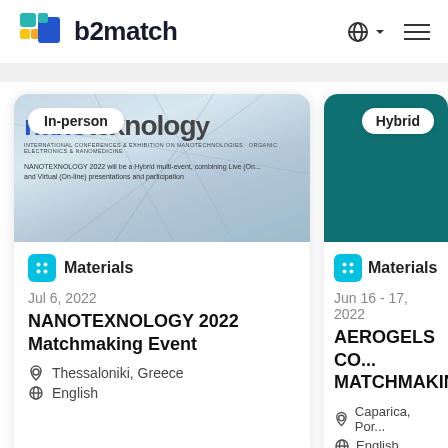b2match
[Figure (screenshot): b2match website listing of matchmaking events, showing two event cards: NANOTEXNOLOGY 2022 Matchmaking Event (In-person, Materials, Jul 6 2022, Thessaloniki Greece, English) and AEROGELS CO... MATCHMAKING (Hybrid, Materials, Jun 16-17 2022, Caparica Portugal, English)]